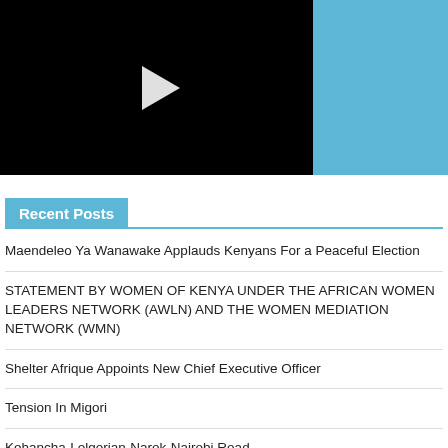[Figure (screenshot): Video thumbnail with black background and white play button triangle, with blue/cyan background on the right side]
Recent Posts
Maendeleo Ya Wanawake Applauds Kenyans For a Peaceful Election
STATEMENT BY WOMEN OF KENYA UNDER THE AFRICAN WOMEN LEADERS NETWORK (AWLN) AND THE WOMEN MEDIATION NETWORK (WMN)
Shelter Afrique Appoints New Chief Executive Officer
Tension In Migori
Kehancha-Lolgorian-Narok-Nairobi Road